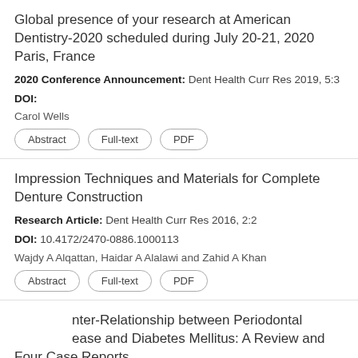Global presence of your research at American Dentistry-2020 scheduled during July 20-21, 2020 Paris, France
2020 Conference Announcement: Dent Health Curr Res 2019, 5:3
DOI:
Carol Wells
Impression Techniques and Materials for Complete Denture Construction
Research Article: Dent Health Curr Res 2016, 2:2
DOI: 10.4172/2470-0886.1000113
Wajdy A Alqattan, Haidar A Alalawi and Zahid A Khan
Inter-Relationship between Periodontal Disease and Diabetes Mellitus: A Review and Four Case Reports